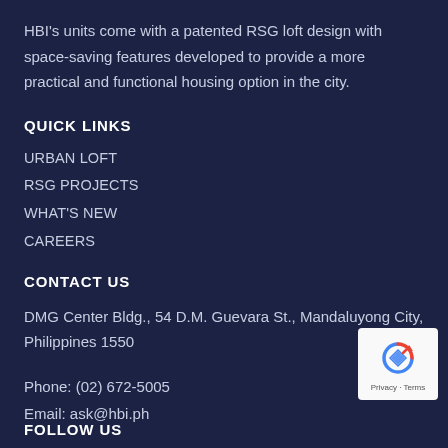HBI's units come with a patented RSG loft design with space-saving features developed to provide a more practical and functional housing option in the city.
QUICK LINKS
URBAN LOFT
RSG PROJECTS
WHAT'S NEW
CAREERS
CONTACT US
DMG Center Bldg., 54 D.M. Guevara St., Mandaluyong City, Philippines 1550
Phone: (02) 672-5005
Email: ask@hbi.ph
FOLLOW US